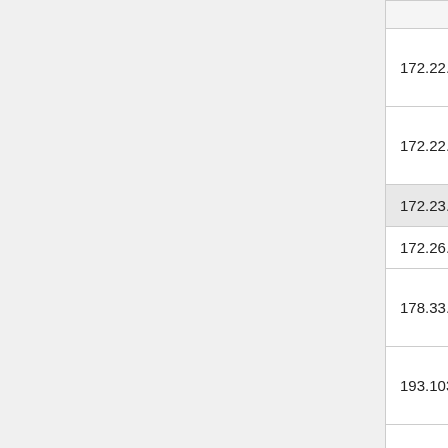| IP Range | Name | Info |
| --- | --- | --- |
| 172.22.192.80/28 |  |  |
| 172.22.193.0/25 | mw | he… |
| 172.23.0.0/16 | aaa_vpnhub1 |  |
| 172.26.0.0/15 | freifunk_kbu1 | Kl… |
| 178.33.2.240/28 | o_g | U… g.… |
| 193.103.159.0/24 | hydra | ha… |
| 193.103.160.0/23 |  | ha… |
| 195.195.195.0/24 | 51lieal | Th… H… |
| 198.18.0.0/16 | schaffenburg | S… |